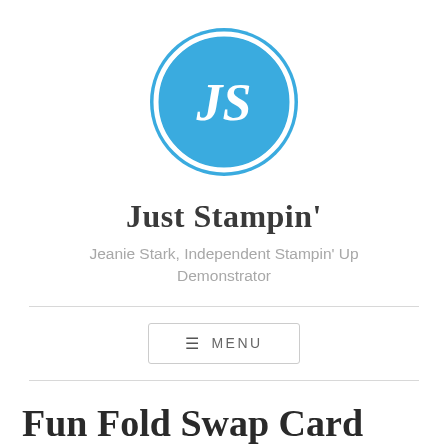[Figure (logo): Circular blue logo with white border ring and white serif letters 'JS' in the center on a blue background]
Just Stampin'
Jeanie Stark, Independent Stampin' Up Demonstrator
≡ MENU
Fun Fold Swap Card from Cindy T.